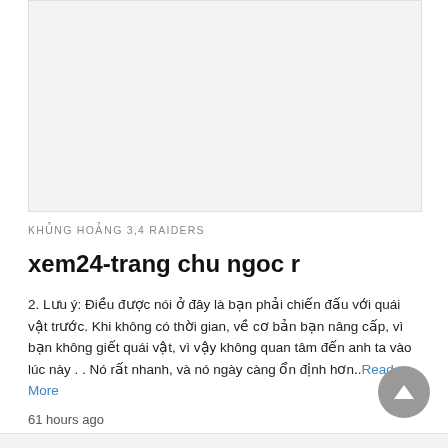[Figure (photo): Light gray rectangular image placeholder area at the top of the page]
KHỦNG HOẢNG 3,4 RAIDERS
xem24-trang chu ngoc r
2. Lưu ý: Điều được nói ở đây là bạn phải chiến đấu với quái vật trước. Khi không có thời gian, về cơ bản bạn nâng cấp, vì bạn không giết quái vật, vì vậy không quan tâm đến anh ta vào lúc này . . Nó rất nhanh, và nó ngày càng ổn định hơn.. Read More
61 hours ago